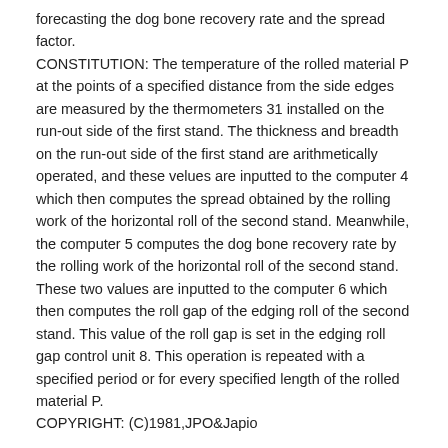forecasting the dog bone recovery rate and the spread factor. CONSTITUTION: The temperature of the rolled material P at the points of a specified distance from the side edges are measured by the thermometers 31 installed on the run-out side of the first stand. The thickness and breadth on the run-out side of the first stand are arithmetically operated, and these velues are inputted to the computer 4 which then computes the spread obtained by the rolling work of the horizontal roll of the second stand. Meanwhile, the computer 5 computes the dog bone recovery rate by the rolling work of the horizontal roll of the second stand. These two values are inputted to the computer 6 which then computes the roll gap of the edging roll of the second stand. This value of the roll gap is set in the edging roll gap control unit 8. This operation is repeated with a specified period or for every specified length of the rolled material P. COPYRIGHT: (C)1981,JPO&Japio
Cited By (2)
| Publication number | Priority date | Publication date | Ass |
| --- | --- | --- | --- |